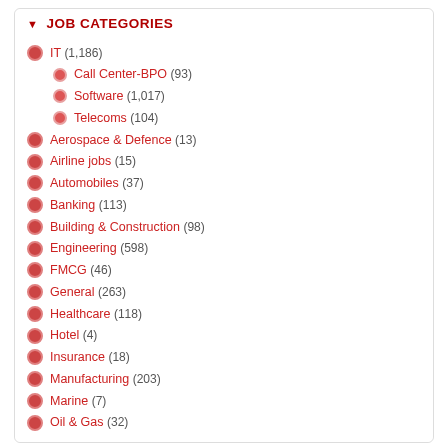JOB CATEGORIES
IT (1,186)
Call Center-BPO (93)
Software (1,017)
Telecoms (104)
Aerospace & Defence (13)
Airline jobs (15)
Automobiles (37)
Banking (113)
Building & Construction (98)
Engineering (598)
FMCG (46)
General (263)
Healthcare (118)
Hotel (4)
Insurance (18)
Manufacturing (203)
Marine (7)
Oil & Gas (32)
LOCATIONS
SPECIAL DOMAINS